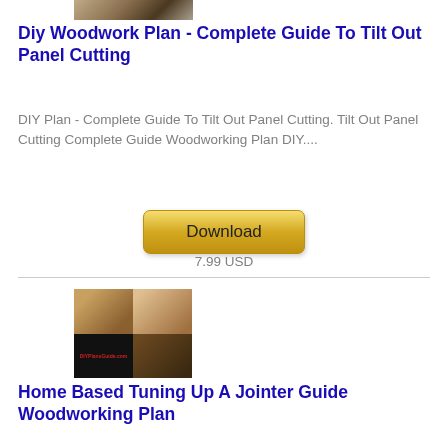[Figure (photo): Thumbnail image of woodworking/panel cutting at top of page]
Diy Woodwork Plan - Complete Guide To Tilt Out Panel Cutting
DIY Plan - Complete Guide To Tilt Out Panel Cutting. Tilt Out Panel Cutting Complete Guide Woodworking Plan DIY....
[Figure (other): Download button with gold/yellow gradient styling]
7.99 USD
[Figure (photo): Collage thumbnail image showing woodworking tools and DIYPlansGuide.com branding]
Home Based Tuning Up A Jointer Guide Woodworking Plan